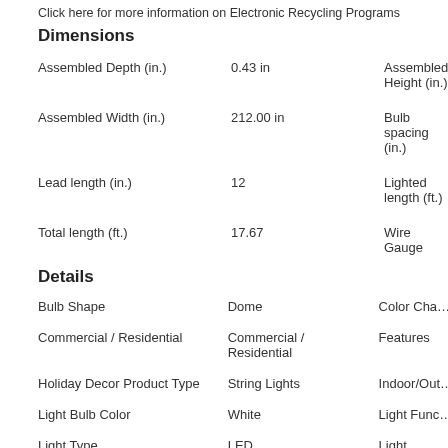Click here for more information on Electronic Recycling Programs
Dimensions
| Attribute | Value | Attribute (right) |
| --- | --- | --- |
| Assembled Depth (in.) | 0.43 in | Assembled Height (in.) |
| Assembled Width (in.) | 212.00 in | Bulb spacing (in.) |
| Lead length (in.) | 12 | Lighted length (ft.) |
| Total length (ft.) | 17.67 | Wire Gauge |
Details
| Attribute | Value | Attribute (right) |
| --- | --- | --- |
| Bulb Shape | Dome | Color Cha… |
| Commercial / Residential | Commercial / Residential | Features |
| Holiday Decor Product Type | String Lights | Indoor/Out… |
| Light Bulb Color | White | Light Func… |
| Light Type | LED | Light count… |
| Maximum number of sets | 25 | Power Typ… |